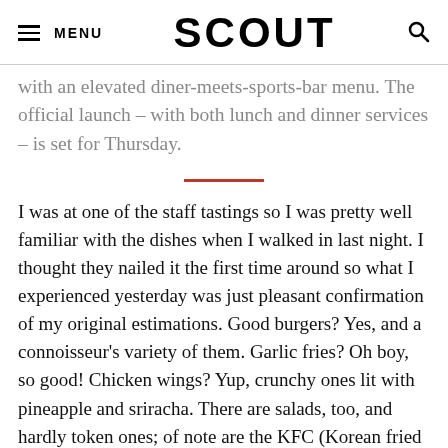MENU | SCOUT
with an elevated diner-meets-sports-bar menu. The official launch – with both lunch and dinner services – is set for Thursday.
I was at one of the staff tastings so I was pretty well familiar with the dishes when I walked in last night. I thought they nailed it the first time around so what I experienced yesterday was just pleasant confirmation of my original estimations. Good burgers? Yes, and a connoisseur's variety of them. Garlic fries? Oh boy, so good! Chicken wings? Yup, crunchy ones lit with pineapple and sriracha. There are salads, too, and hardly token ones; of note are the KFC (Korean fried cauliflower), old school Wedge, and the intense, anchovy-bomb Caesar. It's the kind of food that sports fans regularly indulge in, only it's done